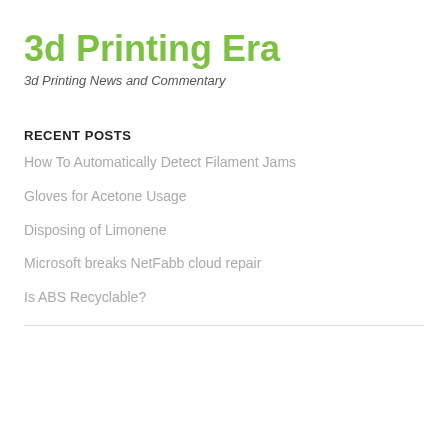3d Printing Era
3d Printing News and Commentary
RECENT POSTS
How To Automatically Detect Filament Jams
Gloves for Acetone Usage
Disposing of Limonene
Microsoft breaks NetFabb cloud repair
Is ABS Recyclable?